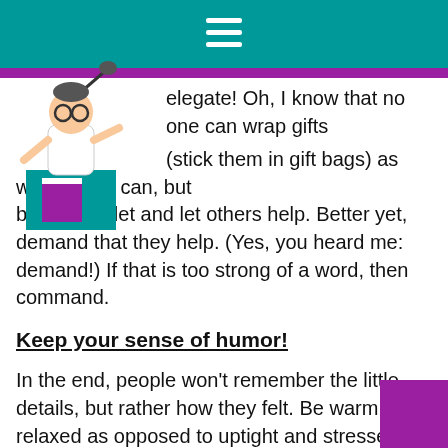[Figure (illustration): Website header with teal background and white hamburger menu icon, with a cartoon mascot illustration of a person at a podium in the top-left]
elegate! Oh, I know that no one can wrap gifts (stick them in gift bags) as well as you can, but bite the bullet and let others help. Better yet, demand that they help. (Yes, you heard me: demand!) If that is too strong of a word, then command.
Keep your sense of humor!
In the end, people won't remember the little details, but rather how they felt. Be warm and relaxed as opposed to uptight and stressed to make the holidays joyful for yourself and all you touch. It really IS the most WONDERFUL tiiiiiime of the yeeeeear, so relax and enjoy it!